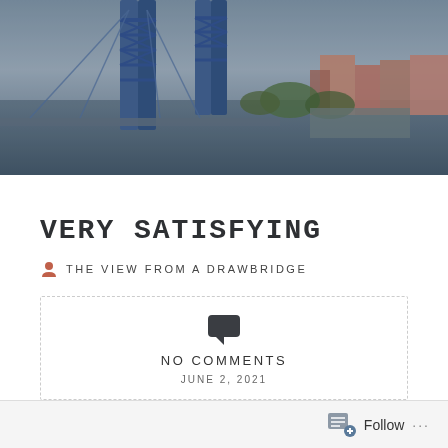[Figure (photo): Aerial photo of a drawbridge over a river with a city skyline and buildings in the background, overcast sky]
VERY SATISFYING
THE VIEW FROM A DRAWBRIDGE
NO COMMENTS
JUNE 2, 2021
Follow ...